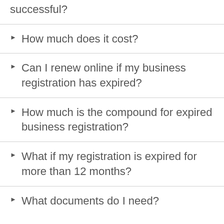successful?
How much does it cost?
Can I renew online if my business registration has expired?
How much is the compound for expired business registration?
What if my registration is expired for more than 12 months?
What documents do I need?